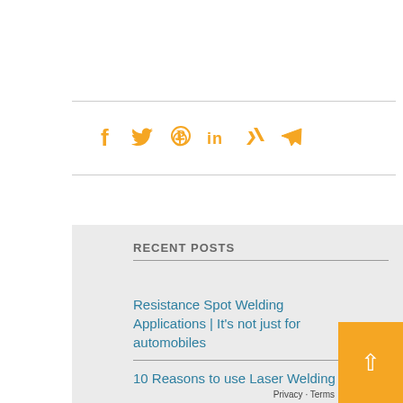[Figure (other): Social media share icons row: Facebook, Twitter, Pinterest, LinkedIn, Xing, Telegram — all in orange color]
RECENT POSTS
Resistance Spot Welding Applications | It's not just for automobiles
10 Reasons to use Laser Welding